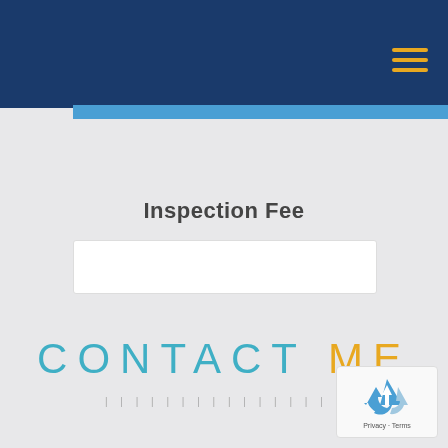Inspection Fee
CONTACT ME
[Figure (other): reCAPTCHA badge with recycling arrow logo and Privacy - Terms text]